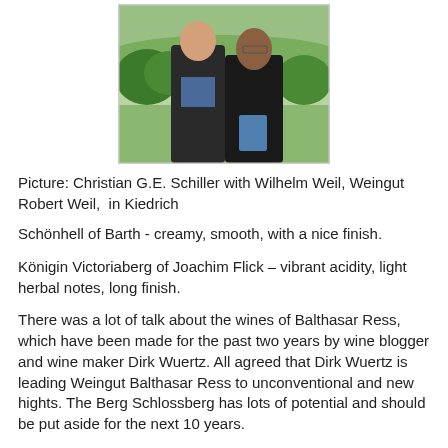[Figure (photo): Two men standing outdoors in front of green fields and trees. The man on the left wears a dark jacket; the man on the right wears a black polo shirt and holds a blue folder/book.]
Picture: Christian G.E. Schiller with Wilhelm Weil, Weingut Robert Weil,  in Kiedrich
Schönhell of Barth - creamy, smooth, with a nice finish.
Königin Victoriaberg of Joachim Flick – vibrant acidity, light herbal notes, long finish.
There was a lot of talk about the wines of Balthasar Ress, which have been made for the past two years by wine blogger and wine maker Dirk Wuertz. All agreed that Dirk Wuertz is leading Weingut Balthasar Ress to unconventional and new hights. The Berg Schlossberg has lots of potential and should be put aside for the next 10 years.